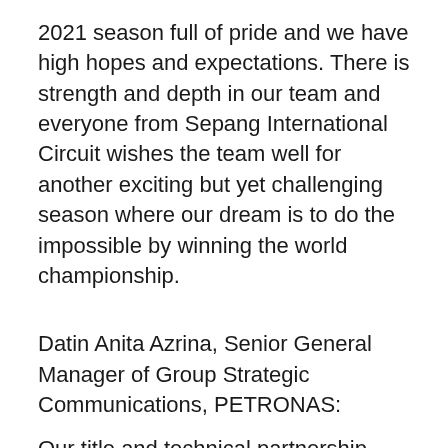2021 season full of pride and we have high hopes and expectations. There is strength and depth in our team and everyone from Sepang International Circuit wishes the team well for another exciting but yet challenging season where our dream is to do the impossible by winning the world championship.
Datin Anita Azrina, Senior General Manager of Group Strategic Communications, PETRONAS:
Our title and technical partnership with SRT has significantly enhanced our R&D capabilities in the area of fluid technology solutions. We are proud to say our fluid formulations have been instrumental towards PSRT's success in the world championship. We have seen PSRT clinch the 2019 and 2020 MotoGP Best Independent Team award, while Franco became the 2020 MotoGP